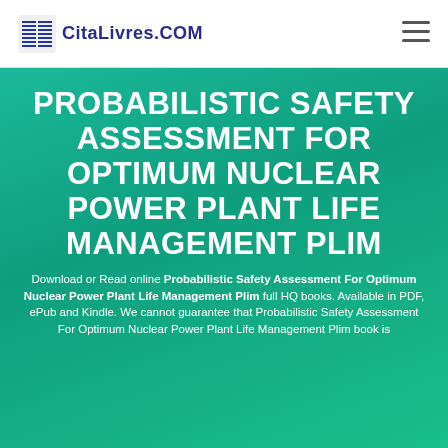CitaLivres.COM
PROBABILISTIC SAFETY ASSESSMENT FOR OPTIMUM NUCLEAR POWER PLANT LIFE MANAGEMENT PLIM
Download or Read online Probabilistic Safety Assessment For Optimum Nuclear Power Plant Life Management Plim full HQ books. Available in PDF, ePub and Kindle. We cannot guarantee that Probabilistic Safety Assessment For Optimum Nuclear Power Plant Life Management Plim book is